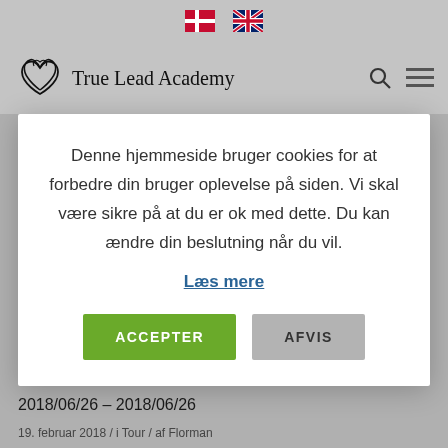[Danish flag] [UK flag]
[Figure (logo): True Lead Academy logo with stylized heart/flame icon and text 'True Lead Academy']
Denne hjemmeside bruger cookies for at forbedre din bruger oplevelse på siden. Vi skal være sikre på at du er ok med dette. Du kan ændre din beslutning når du vil.
Læs mere
ACCEPTER
AFVIS
guidet tur på Island
2018/06/26 – 2018/06/26
19. februar 2018 / i Tour / af Florman